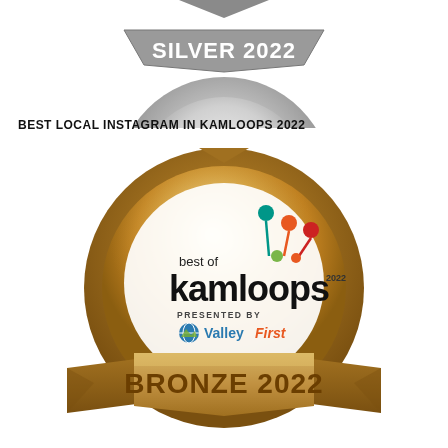[Figure (illustration): Partial silver 'Best of Kamloops 2022' badge showing the top portion with 'SILVER 2022' text on a silver/gray badge shape]
BEST LOCAL INSTAGRAM IN KAMLOOPS 2022
[Figure (illustration): Bronze 'Best of Kamloops 2022' award badge. Round golden-bronze medal with 'best of kamloops 2022 presented by Valley First' logo inside, and a bronze ribbon banner at the bottom reading 'BRONZE 2022']